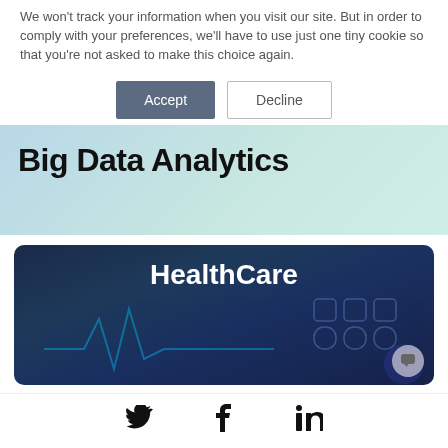We won't track your information when you visit our site. But in order to comply with your preferences, we'll have to use just one tiny cookie so that you're not asked to make this choice again.
[Figure (screenshot): Accept and Decline cookie consent buttons]
Big Data Analytics
[Figure (photo): HealthCare banner image showing a doctor with digital medical interface overlays and the text HealthCare]
[Figure (other): Social media icons: Twitter, Facebook, LinkedIn]